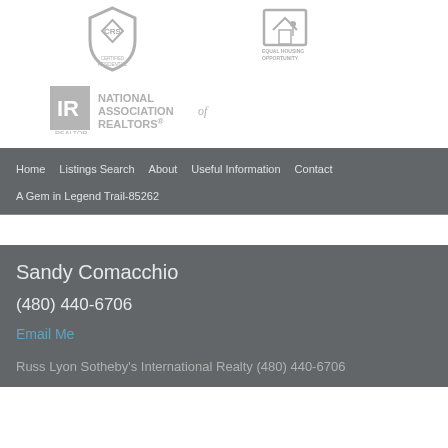[Figure (logo): CRS logo (grey shield shape)]
[Figure (logo): Equal Housing Opportunity logo with text EQUAL HOUSING OPPORTUNITY]
[Figure (logo): National Association of Realtors logo with IR icon and text NATIONAL ASSOCIATION of REALTORS]
Home   Listings Search   About   Useful Information   Contact
A Gem in Legend Trail-85262
Sandy Comacchio
(480) 440-6706
Email Me
Russ Lyon Sotheby's International Realty (480) 440-6706